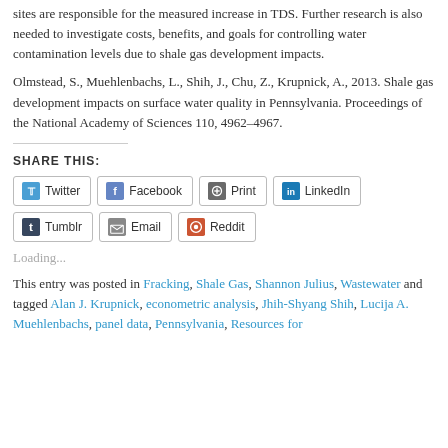sites are responsible for the measured increase in TDS. Further research is also needed to investigate costs, benefits, and goals for controlling water contamination levels due to shale gas development impacts.
Olmstead, S., Muehlenbachs, L., Shih, J., Chu, Z., Krupnick, A., 2013. Shale gas development impacts on surface water quality in Pennsylvania. Proceedings of the National Academy of Sciences 110, 4962–4967.
SHARE THIS:
Twitter | Facebook | Print | LinkedIn | Tumblr | Email | Reddit
Loading...
This entry was posted in Fracking, Shale Gas, Shannon Julius, Wastewater and tagged Alan J. Krupnick, econometric analysis, Jhih-Shyang Shih, Lucija A. Muehlenbachs, panel data, Pennsylvania, Resources for